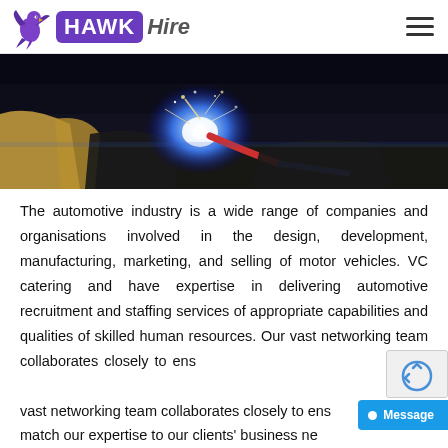HAWK Hire
[Figure (photo): Close-up photo of industrial welding with bright blue electric arc and sparks, hands visible holding welding equipment in a dark workshop environment.]
The automotive industry is a wide range of companies and organisations involved in the design, development, manufacturing, marketing, and selling of motor vehicles. VC catering and have expertise in delivering automotive recruitment and staffing services of appropriate capabilities and qualities of skilled human resources. Our vast networking team collaborates closely to ens[ure we] match our expertise to our clients' business ne[eds...]